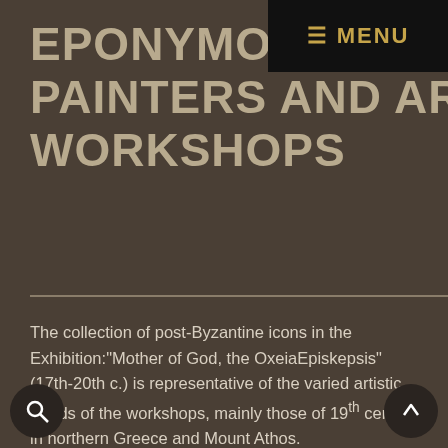≡ MENU
EPONYMOUS PAINTERS AND ART WORKSHOPS
The collection of post-Byzantine icons in the Exhibition:"Mother of God, the OxeiaEpiskepsis" (17th-20th c.) is representative of the varied artistic trends of the workshops, mainly those of 19th century in northern Greece and Mount Athos.
In theselatest icons of the Collection (19th c.), "Athonite painting" is worthily represented, as formed by the two dominant artistic workshops of Mount Athos of the period: that of Nikephoros"from Agrafa" (†1812), originating from Karpenissi, and that of Makarios (†1814) from Galatista (Halkidiki). In the Collection, the